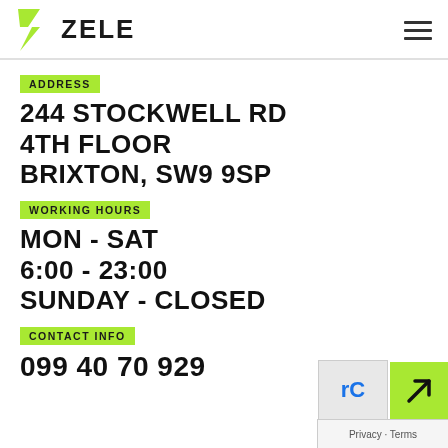ZELE
ADDRESS
244 STOCKWELL RD
4TH FLOOR
BRIXTON, SW9 9SP
WORKING HOURS
MON - SAT
6:00 - 23:00
SUNDAY - CLOSED
CONTACT INFO
099 40 70 929